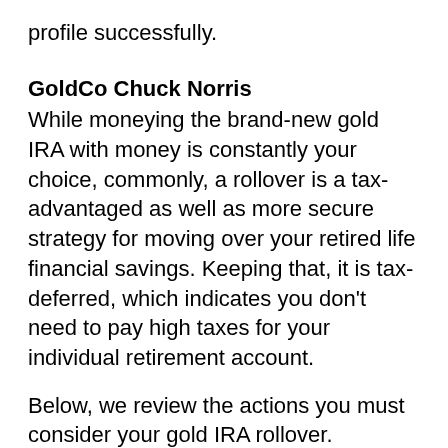profile successfully.
GoldCo Chuck Norris
While moneying the brand-new gold IRA with money is constantly your choice, commonly, a rollover is a tax-advantaged as well as more secure strategy for moving over your retired life financial savings. Keeping that, it is tax-deferred, which indicates you don't need to pay high taxes for your individual retirement account.
Below, we review the actions you must consider your gold IRA rollover.
The first thing you should know is that you can money your new gold IRA in 2 methods: a transfer or a rollover. The majority of